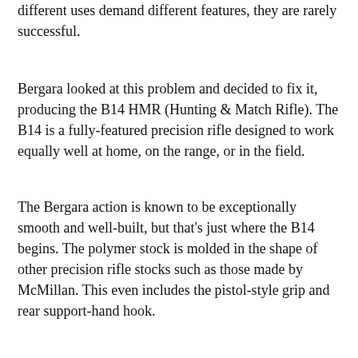rifle that is capable in all situations. However, because different uses demand different features, they are rarely successful.
Bergara looked at this problem and decided to fix it, producing the B14 HMR (Hunting & Match Rifle). The B14 is a fully-featured precision rifle designed to work equally well at home, on the range, or in the field.
The Bergara action is known to be exceptionally smooth and well-built, but that's just where the B14 begins. The polymer stock is molded in the shape of other precision rifle stocks such as those made by McMillan. This even includes the pistol-style grip and rear support-hand hook.